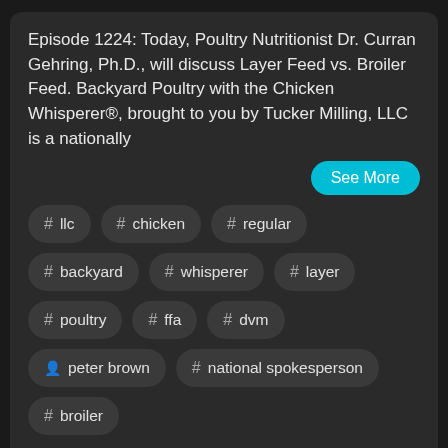Episode 1224: Today, Poultry Nutritionist Dr. Curran Gehring, Ph.D., will discuss Layer Feed vs. Broiler Feed. Backyard Poultry with the Chicken Whisperer®, brought to you by Tucker Milling, LLC is a nationally
See More
# llc
# chicken
# regular
# backyard
# whisperer
# layer
# poultry
# ffa
# dvm
peter brown
# national spokesperson
# broiler
Launching Products at Google Gloo with Ag it...